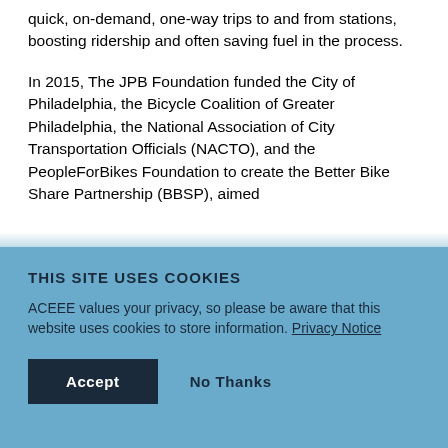quick, on-demand, one-way trips to and from stations, boosting ridership and often saving fuel in the process.
In 2015, The JPB Foundation funded the City of Philadelphia, the Bicycle Coalition of Greater Philadelphia, the National Association of City Transportation Officials (NACTO), and the PeopleForBikes Foundation to create the Better Bike Share Partnership (BBSP), aimed
THIS SITE USES COOKIES
ACEEE values your privacy, so please be aware that this website uses cookies to store information. Privacy Notice